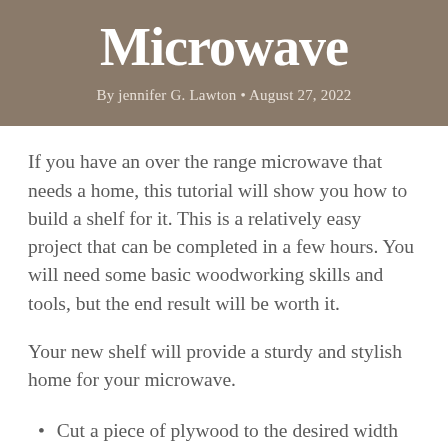Microwave
By jennifer G. Lawton • August 27, 2022
If you have an over the range microwave that needs a home, this tutorial will show you how to build a shelf for it. This is a relatively easy project that can be completed in a few hours. You will need some basic woodworking skills and tools, but the end result will be worth it.
Your new shelf will provide a sturdy and stylish home for your microwave.
Cut a piece of plywood to the desired width and length for the shelf.